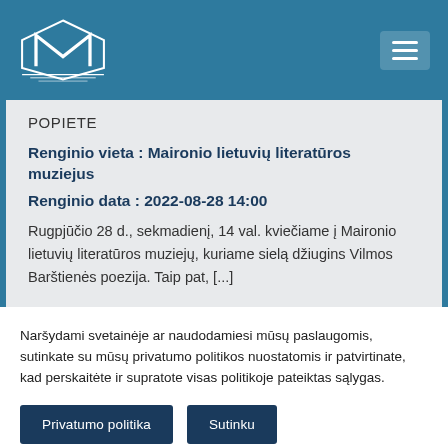MIM logo | navigation menu
POPIETE
Renginio vieta : Maironio lietuvių literatūros muziejus
Renginio data : 2022-08-28 14:00
Rugpjūčio 28 d., sekmadienį, 14 val. kviečiame į Maironio lietuvių literatūros muziejų, kuriame sielą džiugins Vilmos Barštienės poezija. Taip pat, [...]
Naršydami svetainėje ar naudodamiesi mūsų paslaugomis, sutinkate su mūsų privatumo politikos nuostatomis ir patvirtinate, kad perskaitėte ir supratote visas politikoje pateiktas sąlygas.
Privatumo politika
Sutinku